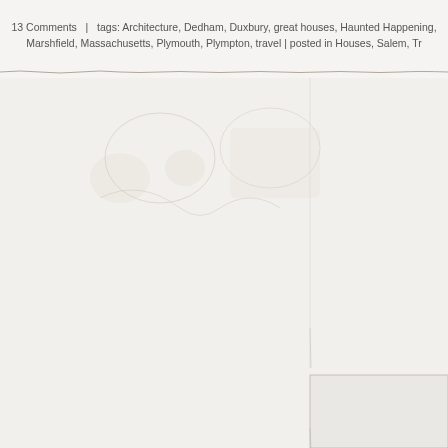13 Comments   |  tags: Architecture, Dedham, Duxbury, great houses, Haunted Happening, Marshfield, Massachusetts, Plymouth, Plympton, travel | posted in Houses, Salem, Tr...
[Figure (photo): Faded/washed out photographic image area showing partial document or scanned page content with some watermark-like imagery visible. Lower right quadrant shows a lighter bordered image panel.]